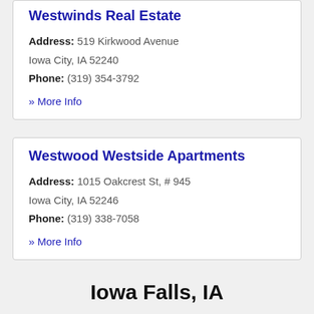Westwinds Real Estate
Address: 519 Kirkwood Avenue Iowa City, IA 52240
Phone: (319) 354-3792
» More Info
Westwood Westside Apartments
Address: 1015 Oakcrest St, # 945 Iowa City, IA 52246
Phone: (319) 338-7058
» More Info
Iowa Falls, IA